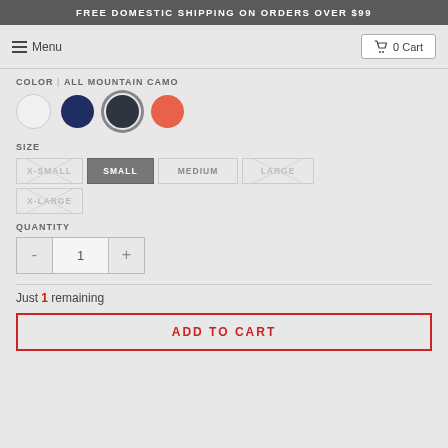FREE DOMESTIC SHIPPING ON ORDERS OVER $99
Menu
0 Cart
COLOR | ALL MOUNTAIN CAMO
SIZE
X-SMALL | SMALL | MEDIUM | LARGE | X-LARGE
QUANTITY
- 1 +
Just 1 remaining
ADD TO CART